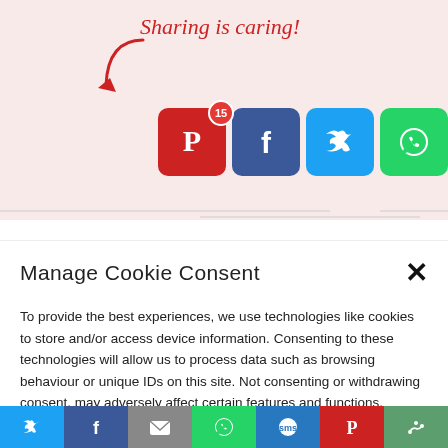[Figure (screenshot): Social sharing widget with 'Sharing is caring!' label and icons for Pinterest (badge 15), Facebook, Twitter, WhatsApp, Email, More]
Manage Cookie Consent
To provide the best experiences, we use technologies like cookies to store and/or access device information. Consenting to these technologies will allow us to process data such as browsing behaviour or unique IDs on this site. Not consenting or withdrawing consent, may adversely affect certain features and functions.
ACCEPT
DENY
VIEW PREFERENCES
[Figure (screenshot): Bottom sharing bar with Twitter, Facebook, Email, WhatsApp, SMS, Pinterest, More icons]